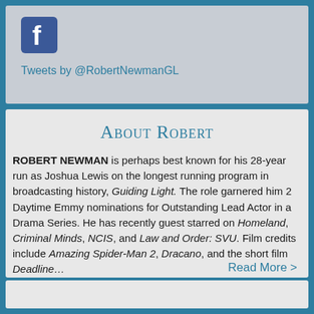[Figure (logo): Facebook logo icon — white lowercase f on blue square with rounded corners]
Tweets by @RobertNewmanGL
About Robert
ROBERT NEWMAN is perhaps best known for his 28-year run as Joshua Lewis on the longest running program in broadcasting history, Guiding Light. The role garnered him 2 Daytime Emmy nominations for Outstanding Lead Actor in a Drama Series. He has recently guest starred on Homeland, Criminal Minds, NCIS, and Law and Order: SVU. Film credits include Amazing Spider-Man 2, Dracano, and the short film Deadline…
Read More >